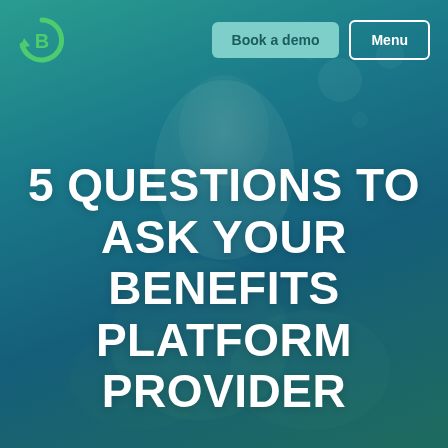[Figure (logo): Green circular letter B logo in top left corner]
Book a demo   Menu
5 QUESTIONS TO ASK YOUR BENEFITS PLATFORM PROVIDER